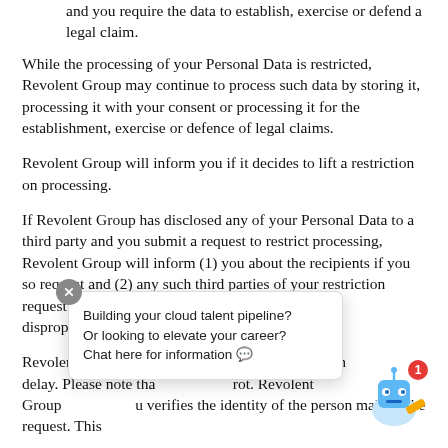and you require the data to establish, exercise or defend a legal claim.
While the processing of your Personal Data is restricted, Revolent Group may continue to process such data by storing it, processing it with your consent or processing it for the establishment, exercise or defence of legal claims.
Revolent Group will inform you if it decides to lift a restriction on processing.
If Revolent Group has disclosed any of your Personal Data to a third party and you submit a request to restrict processing, Revolent Group will inform (1) you about the recipients if you so request and (2) any such third parties of your restriction request unless doing so is impossible or involves disproportionate efforts.
Revolent Group ... in accordance with ... delay. Please note tha ... rot. Revolent Group ... u verifies the identity of the person making the request. This
[Figure (other): Chat popup overlay with close button, robot icon with badge showing '1', and text: 'Building your cloud talent pipeline? Or looking to elevate your career? Chat here for information 💬']